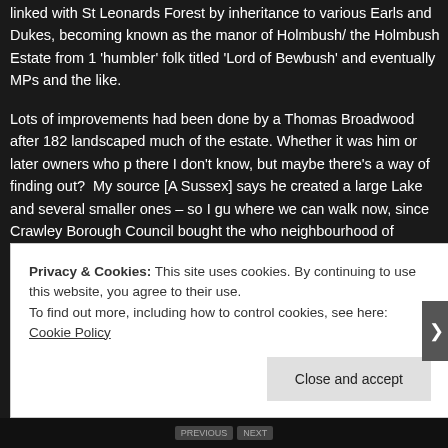linked with St Leonards Forest by inheritance to various Earls and Dukes, becoming known as the manor of Holmbush/ the Holmbush Estate from 1 'humbler' folk titled 'Lord of Bewbush' and eventually MPs and the like.
Lots of improvements had been done by a Thomas Broadwood after 182 landscaped much of the estate. Whether it was him or later owners who p there I don't know, but maybe there's a way of finding out? My source [A Sussex] says he created a large Lake and several smaller ones – so I gu where we can walk now, since Crawley Borough Council bought the who neighbourhood of Bewbush, in order to expand the housing requirement grateful I am too!!
Privacy & Cookies: This site uses cookies. By continuing to use this website, you agree to their use.
To find out more, including how to control cookies, see here: Cookie Policy